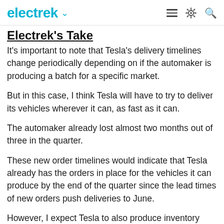electrek
Electrek's Take
It's important to note that Tesla's delivery timelines change periodically depending on if the automaker is producing a batch for a specific market.
But in this case, I think Tesla will have to try to deliver its vehicles wherever it can, as fast as it can.
The automaker already lost almost two months out of three in the quarter.
These new order timelines would indicate that Tesla already has the orders in place for the vehicles it can produce by the end of the quarter since the lead times of new orders push deliveries to June.
However, I expect Tesla to also produce inventory vehicles and send them to markets where it believes it can deliver by the end of the quarter.